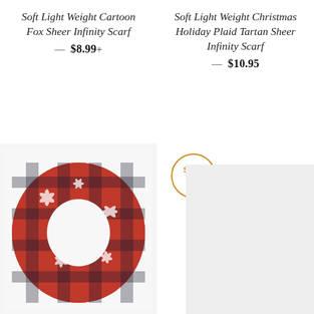Soft Light Weight Cartoon Fox Sheer Infinity Scarf
— $8.99+
Soft Light Weight Christmas Holiday Plaid Tartan Sheer Infinity Scarf
— $10.95
[Figure (photo): Red and black plaid Christmas holiday infinity scarf with white snowflake/leaf pattern, looped on itself to show the circular scarf design]
[Figure (infographic): Circular badge with golden border reading 'SAVE $18' in golden/amber text]
[Figure (photo): Right side product image area, partially visible, light gray background]